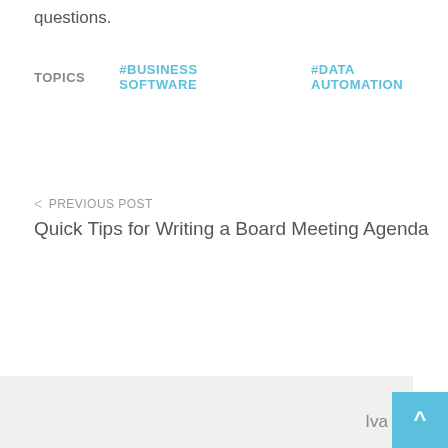questions.
TOPICS   #BUSINESS SOFTWARE   #DATA AUTOMATION
< PREVIOUS POST
Quick Tips for Writing a Board Meeting Agenda
Iva